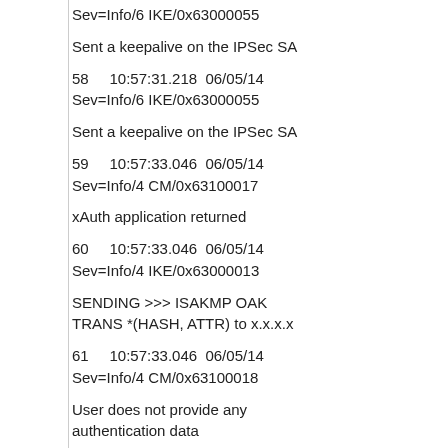Sev=Info/6 IKE/0x63000055
Sent a keepalive on the IPSec SA
58    10:57:31.218  06/05/14
Sev=Info/6 IKE/0x63000055
Sent a keepalive on the IPSec SA
59    10:57:33.046  06/05/14
Sev=Info/4 CM/0x63100017
xAuth application returned
60    10:57:33.046  06/05/14
Sev=Info/4 IKE/0x63000013
SENDING >>> ISAKMP OAK TRANS *(HASH, ATTR) to x.x.x.x
61    10:57:33.046  06/05/14
Sev=Info/4 CM/0x63100018
User does not provide any authentication data